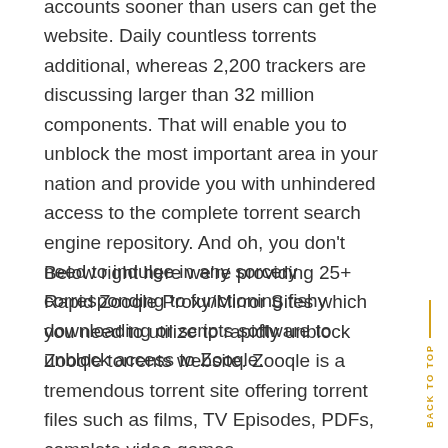accounts sooner than users can get the website. Daily countless torrents additional, whereas 2,200 trackers are discussing larger than 32 million components. That will enable you to unblock the most important area in your nation and provide you with unhindered access to the complete torrent search engine repository. And oh, you don't need to indulge in any sorcery corresponding to functioning fishy downloading or scripts software to unblock access to Zooqle.
Below right here we're providing 25+ Rapid Zooqle Proxy/Mirror Sites which you need to utilize to rapidly unblock Zooqle torrents website. Zooqle is a tremendous torrent site offering torrent files such as films, TV Episodes, PDFs, complete video games,